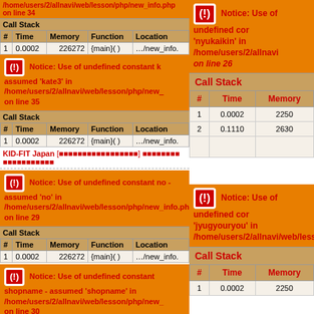/home/users/2/allnavi/web/lesson/php/new_info.php on line 34
| # | Time | Memory | Function | Location |
| --- | --- | --- | --- | --- |
| 1 | 0.0002 | 226272 | {main}( ) | …/new_info. |
Notice: Use of undefined constant kate3 - assumed 'kate3' in /home/users/2/allnavi/web/lesson/php/new_info.php on line 35
| # | Time | Memory | Function | Location |
| --- | --- | --- | --- | --- |
| 1 | 0.0002 | 226272 | {main}( ) | …/new_info. |
KID-FIT Japan [Japanese text]
Notice: Use of undefined constant no - assumed 'no' in /home/users/2/allnavi/web/lesson/php/new_info.php on line 29
| # | Time | Memory | Function | Location |
| --- | --- | --- | --- | --- |
| 1 | 0.0002 | 226272 | {main}( ) | …/new_info. |
Notice: Use of undefined constant shopname - assumed 'shopname' in /home/users/2/allnavi/web/lesson/php/new_info.php on line 30
Notice: Use of undefined constant 'nyukaikin' in /home/users/2/allnavi/web/lesson/php/... on line 26
| # | Time | Memory |
| --- | --- | --- |
| 1 | 0.0002 | 2250 |
| 2 | 0.1110 | 2630 |
Notice: Use of undefined constant 'jyugyouryou' in /home/users/2/allnavi/web/lesson/p...
| # | Time | Memory |
| --- | --- | --- |
| 1 | 0.0002 | 2250 |